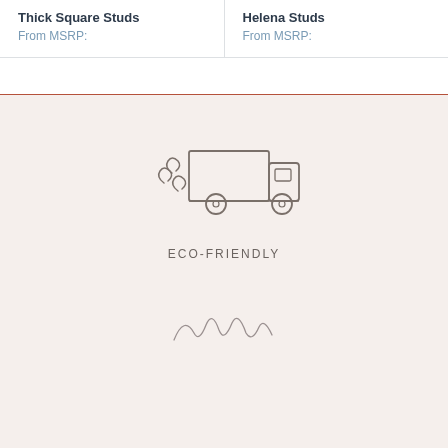Thick Square Studs
From MSRP:
Helena Studs
From MSRP:
[Figure (illustration): Eco-friendly delivery truck icon with decorative swirl lines suggesting wind/eco, drawn in outline style]
ECO-FRIENDLY
[Figure (illustration): Partial handwritten script or signature at the bottom of the page]